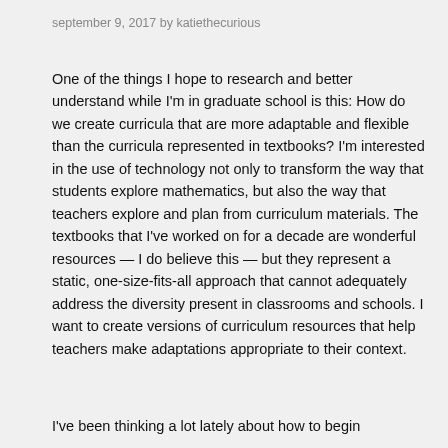september 9, 2017 by katiethecurious
One of the things I hope to research and better understand while I'm in graduate school is this: How do we create curricula that are more adaptable and flexible than the curricula represented in textbooks? I'm interested in the use of technology not only to transform the way that students explore mathematics, but also the way that teachers explore and plan from curriculum materials. The textbooks that I've worked on for a decade are wonderful resources — I do believe this — but they represent a static, one-size-fits-all approach that cannot adequately address the diversity present in classrooms and schools. I want to create versions of curriculum resources that help teachers make adaptations appropriate to their context.
I've been thinking a lot lately about how to begin